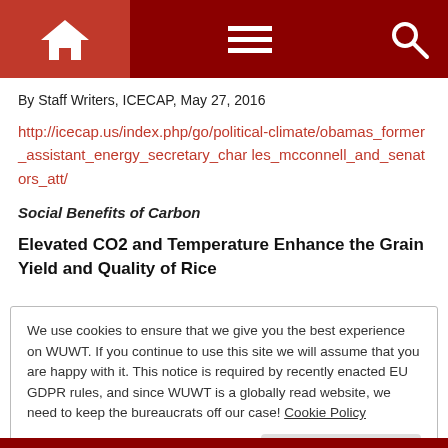Navigation bar with home, menu, and search icons
By Staff Writers, ICECAP, May 27, 2016
http://icecap.us/index.php/go/political-climate/obamas_former_assistant_energy_secretary_charles_mcconnell_and_senators_att/
Social Benefits of Carbon
Elevated CO2 and Temperature Enhance the Grain Yield and Quality of Rice
We use cookies to ensure that we give you the best experience on WUWT. If you continue to use this site we will assume that you are happy with it. This notice is required by recently enacted EU GDPR rules, and since WUWT is a globally read website, we need to keep the bureaucrats off our case! Cookie Policy

Close and accept